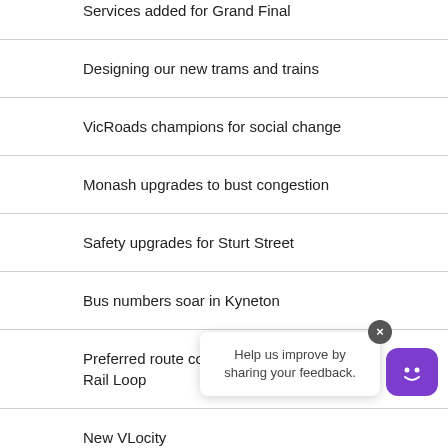Services added for Grand Final
Designing our new trams and trains
VicRoads champions for social change
Monash upgrades to bust congestion
Safety upgrades for Sturt Street
Bus numbers soar in Kyneton
Preferred route confirmed for Suburban Rail Loop
New VLocity…
Safety boost for Western Freeway
[Figure (other): Feedback chatbot popup widget with close button and smiley face bot icon, text: Help us improve by sharing your feedback.]